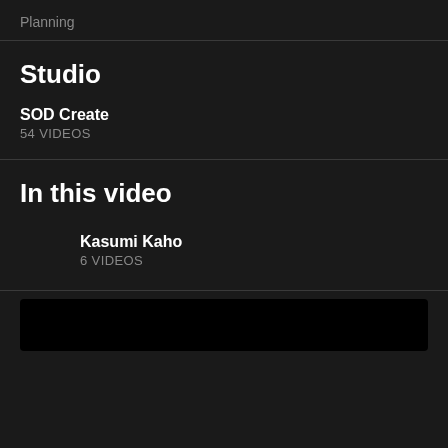Planning
Studio
SOD Create
54 VIDEOS
In this video
Kasumi Kaho
6 VIDEOS
[Figure (other): Dark black thumbnail area at the bottom of the page]